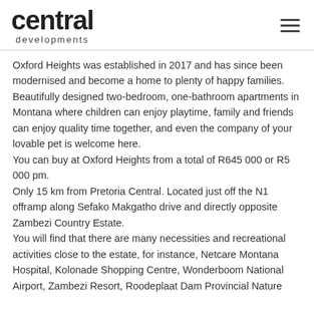central developments
Oxford Heights was established in 2017 and has since been modernised and become a home to plenty of happy families. Beautifully designed two-bedroom, one-bathroom apartments in Montana where children can enjoy playtime, family and friends can enjoy quality time together, and even the company of your lovable pet is welcome here.
You can buy at Oxford Heights from a total of R645 000 or R5 000 pm.
Only 15 km from Pretoria Central. Located just off the N1 offramp along Sefako Makgatho drive and directly opposite Zambezi Country Estate.
You will find that there are many necessities and recreational activities close to the estate, for instance, Netcare Montana Hospital, Kolonade Shopping Centre, Wonderboom National Airport, Zambezi Resort, Roodeplaat Dam Provincial Nature